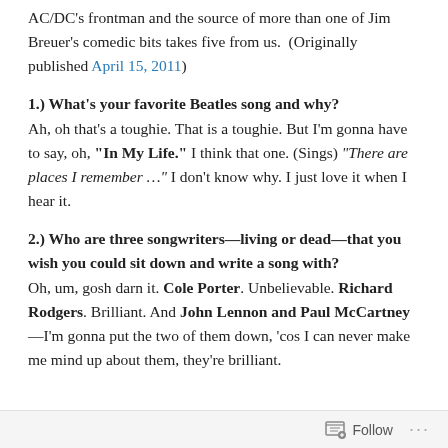AC/DC's frontman and the source of more than one of Jim Breuer's comedic bits takes five from us.  (Originally published April 15, 2011)
1.) What's your favorite Beatles song and why?
Ah, oh that's a toughie. That is a toughie. But I'm gonna have to say, oh, "In My Life." I think that one. (Sings) "There are places I remember …" I don't know why. I just love it when I hear it.
2.) Who are three songwriters—living or dead—that you wish you could sit down and write a song with?
Oh, um, gosh darn it. Cole Porter. Unbelievable. Richard Rodgers. Brilliant. And John Lennon and Paul McCartney—I'm gonna put the two of them down, 'cos I can never make me mind up about them, they're brilliant.
Follow